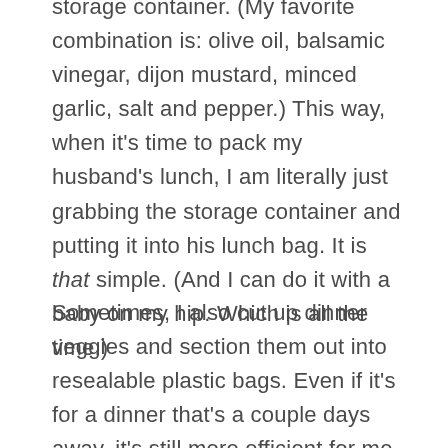storage container. (My favorite combination is: olive oil, balsamic vinegar, dijon mustard, minced garlic, salt and pepper.) This way, when it's time to pack my husband's lunch, I am literally just grabbing the storage container and putting it into his lunch bag. It is that simple. (And I can do it with a baby on my hip. Which is all the time.)
Sometimes, I also cut up dinner veggies and section them out into resealable plastic bags. Even if it's for a dinner that's a couple days away, it's still more efficient for me to cut up all the veggies now, so